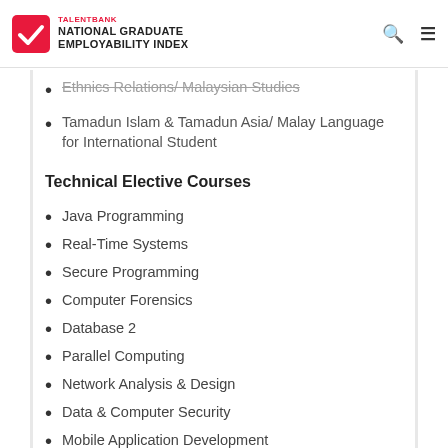TALENTBANK NATIONAL GRADUATE EMPLOYABILITY INDEX
Ethnics Relations/ Malaysian Studies
Tamadun Islam & Tamadun Asia/ Malay Language for International Student
Technical Elective Courses
Java Programming
Real-Time Systems
Secure Programming
Computer Forensics
Database 2
Parallel Computing
Network Analysis & Design
Data & Computer Security
Mobile Application Development